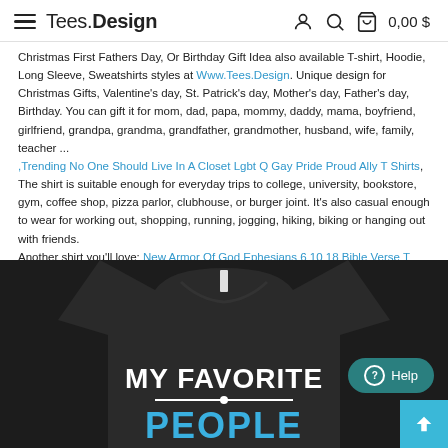Tees.Design  0,00 $
Christmas First Fathers Day, Or Birthday Gift Idea also available T-shirt, Hoodie, Long Sleeve, Sweatshirts styles at Www.Tees.Design. Unique design for Christmas Gifts, Valentine's day, St. Patrick's day, Mother's day, Father's day, Birthday. You can gift it for mom, dad, papa, mommy, daddy, mama, boyfriend, girlfriend, grandpa, grandma, grandfather, grandmother, husband, wife, family, teacher ...,Trending No One Should Live In A Closet Lgbt Q Gay Pride Proud Ally T Shirts, The shirt is suitable enough for everyday trips to college, university, bookstore, gym, coffee shop, pizza parlor, clubhouse, or burger joint. It's also casual enough to wear for working out, shopping, running, jogging, hiking, biking or hanging out with friends. Another shirt you'll love: New Armor Of God Ephesians 6 10 18 Bible Verse T Shirts
[Figure (photo): Black t-shirt product photo showing text 'MY FAVORITE PEOPLE' in white and blue letters on a dark background]